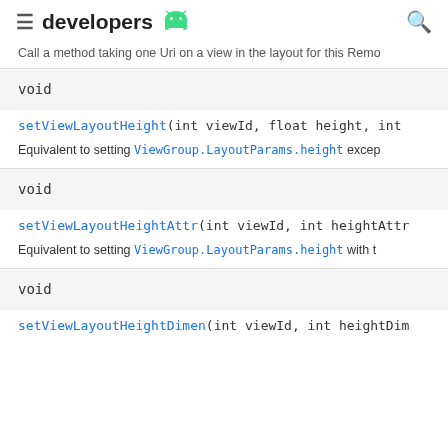developers [android logo]
Call a method taking one Uri on a view in the layout for this Remo
void
setViewLayoutHeight(int viewId, float height, int
Equivalent to setting ViewGroup.LayoutParams.height excep
void
setViewLayoutHeightAttr(int viewId, int heightAttr
Equivalent to setting ViewGroup.LayoutParams.height with t
void
setViewLayoutHeightDimen(int viewId, int heightDim